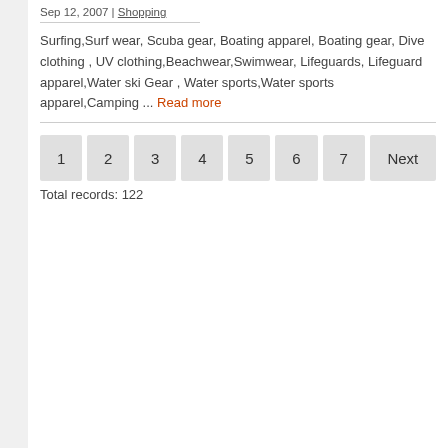Sep 12, 2007 | Shopping
Surfing,Surf wear, Scuba gear, Boating apparel, Boating gear, Dive clothing , UV clothing,Beachwear,Swimwear, Lifeguards, Lifeguard apparel,Water ski Gear , Water sports,Water sports apparel,Camping ... Read more
1 2 3 4 5 6 7 Next
Total records: 122